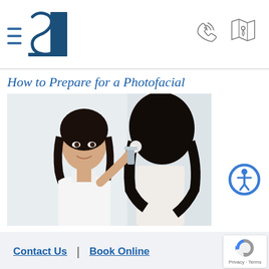[Figure (logo): Medical/dermatology clinic logo with hamburger menu icon, stylized 'S' and rectangular block in dark teal/navy blue]
[Figure (illustration): Phone/call icon with signal waves]
[Figure (illustration): Map/location pin icon]
How to Prepare for a Photofacial
[Figure (photo): Woman looking at her reflection in a bathroom mirror, applying or removing makeup with a cotton pad, wearing a white tank top, dark hair]
[Figure (illustration): Accessibility icon - blue circle with white wheelchair/person figure inside]
Contact Us | Book Online
[Figure (illustration): reCAPTCHA badge with Privacy and Terms text]